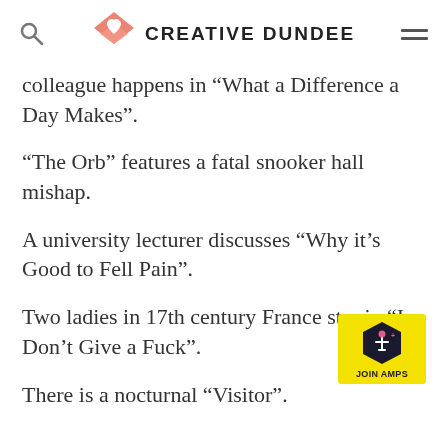CREATIVE DUNDEE
colleague happens in “What a Difference a Day Makes”.
“The Orb” features a fatal snooker hall mishap.
A university lecturer discusses “Why it’s Good to Fell Pain”.
Two ladies in 17th century France star in “I Don’t Give a Fuck”.
[Figure (logo): JOIN AMPS badge with accessibility icon on yellow background]
There is a nocturnal “Visitor”.